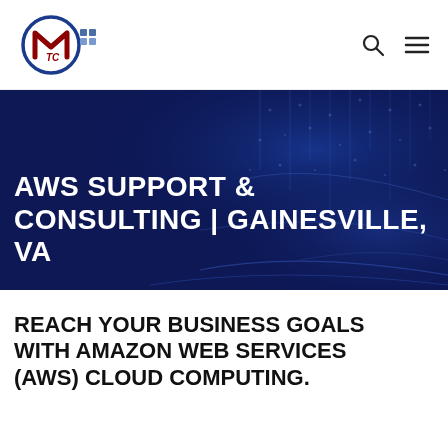[Figure (logo): MeTC company logo: a dark navy/blue circle with a stylized red 'M' and 'TC' letters inside, with small blue/grey squares to the right]
AWS SUPPORT & CONSULTING | GAINESVILLE, VA
REACH YOUR BUSINESS GOALS WITH AMAZON WEB SERVICES (AWS) CLOUD COMPUTING.